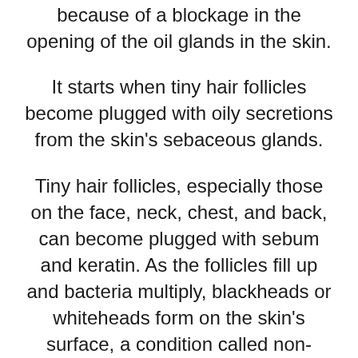because of a blockage in the opening of the oil glands in the skin.
It starts when tiny hair follicles become plugged with oily secretions from the skin's sebaceous glands.
Tiny hair follicles, especially those on the face, neck, chest, and back, can become plugged with sebum and keratin. As the follicles fill up and bacteria multiply, blackheads or whiteheads form on the skin's surface, a condition called non-